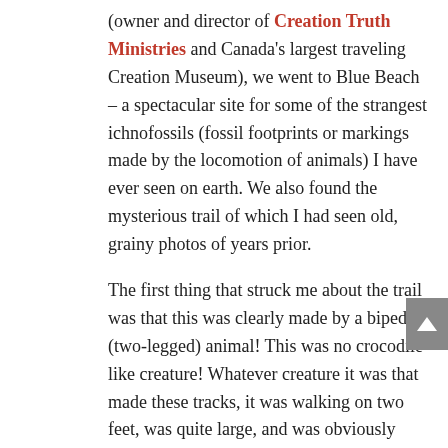(owner and director of Creation Truth Ministries and Canada's largest traveling Creation Museum), we went to Blue Beach – a spectacular site for some of the strangest ichnofossils (fossil footprints or markings made by the locomotion of animals) I have ever seen on earth. We also found the mysterious trail of which I had seen old, grainy photos of years prior.
The first thing that struck me about the trail was that this was clearly made by a bipedal (two-legged) animal! This was no crocodile like creature! Whatever creature it was that made these tracks, it was walking on two feet, was quite large, and was obviously struggling in moving water which was affecting how it walked and stepped.
The Museum of Nova Scotia claims the tracks were made by a creature known as Baropezia. It would appear that the Museum of Nova Scotia agrees with